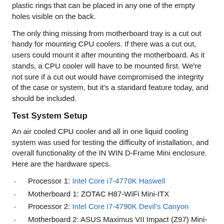plastic rings that can be placed in any one of the empty holes visible on the back.
The only thing missing from motherboard tray is a cut out handy for mounting CPU coolers. If there was a cut out, users could mount it after mounting the motherboard. As it stands, a CPU cooler will have to be mounted first. We're not sure if a cut out would have compromised the integrity of the case or system, but it's a standard feature today, and should be included.
Test System Setup
An air cooled CPU cooler and all in one liquid cooling system was used for testing the difficulty of installation, and overall functionality of the IN WIN D-Frame Mini enclosure. Here are the hardware specs.
Processor 1: Intel Core i7-4770K Haswell
Motherboard 1: ZOTAC H87-WiFi Mini-ITX
Processor 2: Intel Core i7-4790K Devil's Canyon
Motherboard 2: ASUS Maximus VII Impact (Z97) Mini-ITX
Memory 1: Kingston HyperX Fury 16GB 1866 MHz DDR3
Memory 2: Kingston HyperX Savage 16GB 1866 MHz DDR3